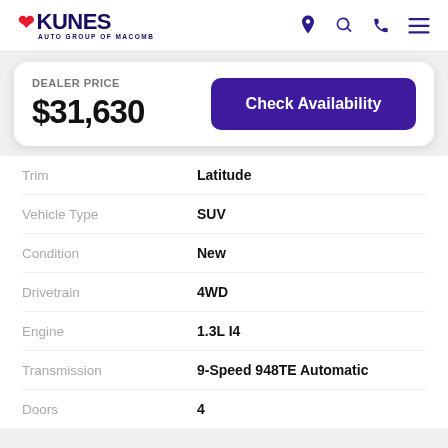KUNES AUTO GROUP OF MACOMB
DEALER PRICE
$31,630
Check Availability
| Attribute | Value |
| --- | --- |
| Trim | Latitude |
| Vehicle Type | SUV |
| Condition | New |
| Drivetrain | 4WD |
| Engine | 1.3L I4 |
| Transmission | 9-Speed 948TE Automatic |
| Doors | 4 |